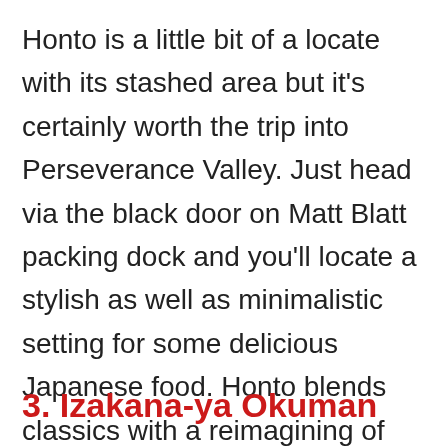Honto is a little bit of a locate with its stashed area but it's certainly worth the trip into Perseverance Valley. Just head via the black door on Matt Blatt packing dock and you'll locate a stylish as well as minimalistic setting for some delicious Japanese food. Honto blends classics with a reimagining of what Japanese cooking is and also can be.
3. Izakana-ya Okuman